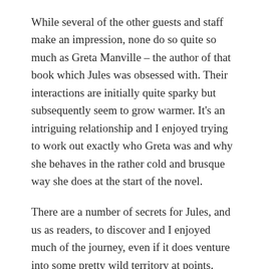While several of the other guests and staff make an impression, none do so quite so much as Greta Manville – the author of that book which Jules was obsessed with. Their interactions are initially quite sparky but subsequently seem to grow warmer. It's an intriguing relationship and I enjoyed trying to work out exactly who Greta was and why she behaves in the rather cold and brusque way she does at the start of the novel.
There are a number of secrets for Jules, and us as readers, to discover and I enjoyed much of the journey, even if it does venture into some pretty wild territory at points. There are certainly some fantastical ideas here but I was struck upon doing some research, that the main ideas hung together reasonably well. In fact, while Jules never really takes us back over the case, upon careful consideration, I recognised the points in the novel had…